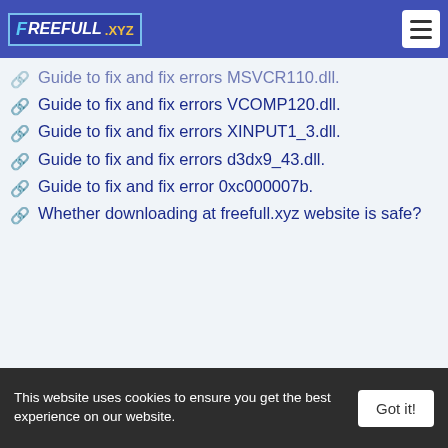FREEFULL.XYZ
Guide to fix and fix errors MSVCR110.dll.
Guide to fix and fix errors VCOMP120.dll.
Guide to fix and fix errors XINPUT1_3.dll.
Guide to fix and fix errors d3dx9_43.dll.
Guide to fix and fix error 0xc000007b.
Whether downloading at freefull.xyz website is safe?
This website uses cookies to ensure you get the best experience on our website. Got it!